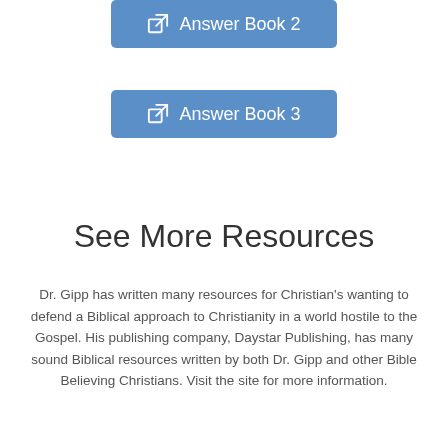[Figure (other): Blue button with external link icon labeled 'Answer Book 2']
[Figure (other): Blue button with external link icon labeled 'Answer Book 3']
See More Resources
Dr. Gipp has written many resources for Christian's wanting to defend a Biblical approach to Christianity in a world hostile to the Gospel. His publishing company, Daystar Publishing, has many sound Biblical resources written by both Dr. Gipp and other Bible Believing Christians. Visit the site for more information.